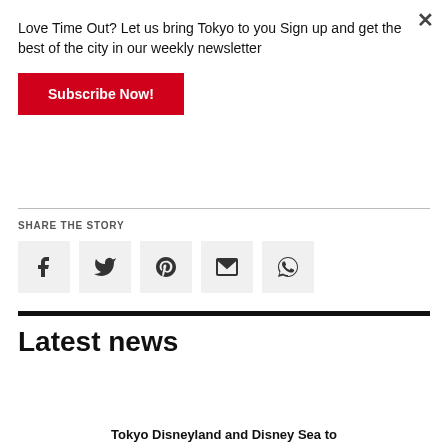Love Time Out? Let us bring Tokyo to you Sign up and get the best of the city in our weekly newsletter
Subscribe Now!
SHARE THE STORY
[Figure (other): Social share icons: Facebook, Twitter, Pinterest, Email, WhatsApp]
Latest news
Tokyo Disneyland and Disney Sea to...